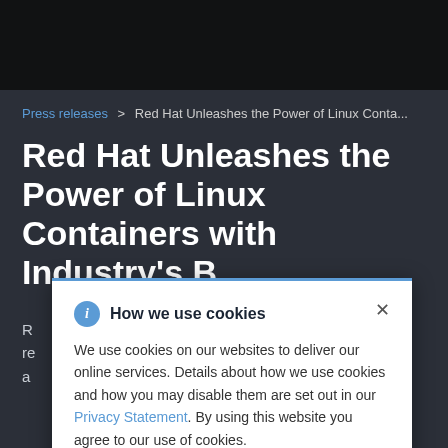Press releases > Red Hat Unleashes the Power of Linux Conta...
Red Hat Unleashes the Power of Linux Containers with Industry's B...
R... erprise- re... s and a... rid cloud
How we use cookies

We use cookies on our websites to deliver our online services. Details about how we use cookies and how you may disable them are set out in our Privacy Statement. By using this website you agree to our use of cookies.